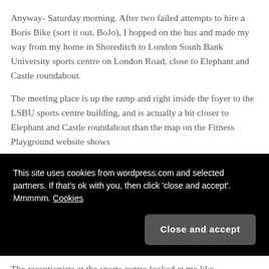Anyway- Saturday morning. After two failed attempts to hire a Boris Bike (sort it out, BoJo), I hopped on the bus and made my way from my home in Shoreditch to London South Bank University sports centre on London Road, close to Elephant and Castle roundabout.
The meeting place is up the ramp and right inside the foyer to the LSBU sports centre building, and is actually a bit closer to Elephant and Castle roundabout than the map on the Fitness Playground website shows
This site uses cookies from wordpress.com and selected partners. If that's ok with you, then click 'close and accept'. Mmmmm. Cookies
Close and accept
The receptionists at the sports centre looked at me like